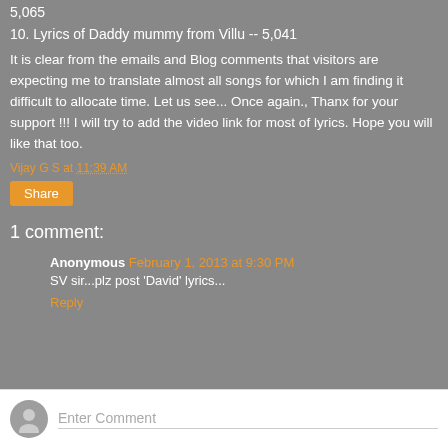5,065
10. Lyrics of Daddy mummy from Villu -- 5,041
It is clear from the emails and Blog comments that visitors are expecting me to translate almost all songs for which I am finding it difficult to allocate time. Let us see... Once again., Thanx for your support !!! I will try to add the video link for most of lyrics. Hope you will like that too.
Vijay G S at 11:39 AM
Share
1 comment:
Anonymous February 1, 2013 at 9:30 PM
SV sir...plz post 'David' lyrics...
Reply
Enter Comment